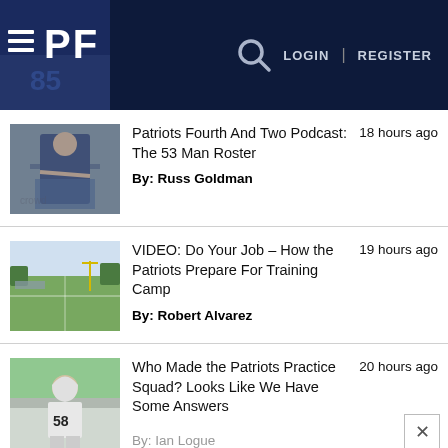PF  LOGIN | REGISTER
[Figure (photo): Coach standing with arms crossed on football field]
Patriots Fourth And Two Podcast: The 53 Man Roster
By: Russ Goldman
18 hours ago
[Figure (photo): Aerial view of green football practice field]
VIDEO: Do Your Job – How the Patriots Prepare For Training Camp
By: Robert Alvarez
19 hours ago
[Figure (photo): Football player wearing number 58 jersey]
Who Made the Patriots Practice Squad? Looks Like We Have Some Answers
By: Ian Logue
20 hours ago